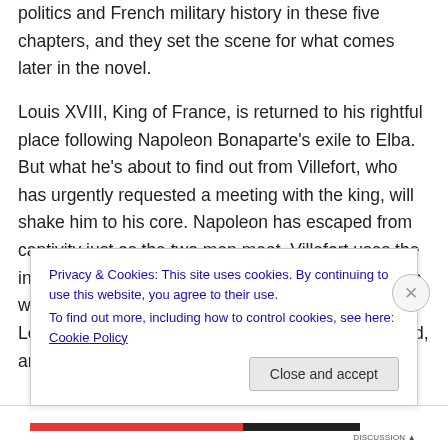politics and French military history in these five chapters, and they set the scene for what comes later in the novel.
Louis XVIII, King of France, is returned to his rightful place following Napoleon Bonaparte's exile to Elba. But what he's about to find out from Villefort, who has urgently requested a meeting with the king, will shake him to his core. Napoleon has escaped from captivity just as the two men meet. Villefort uses the information he got from Dantes, an innocent man, to win favour with the king, who awards him with the Legion of Honour. The chief of police isn't impressed, and finds himself soon out of a job.
Privacy & Cookies: This site uses cookies. By continuing to use this website, you agree to their use.
To find out more, including how to control cookies, see here: Cookie Policy